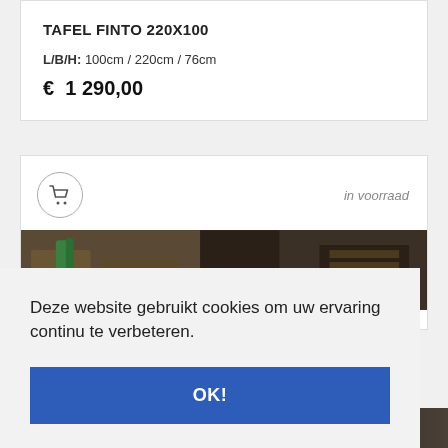TAFEL FINTO 220X100
L/B/H:  100cm / 220cm / 76cm
€  1 290,00
[Figure (screenshot): Shopping cart icon in a circle, with 'in voorraad' text on the right, followed by a partial photo of a furniture showroom]
Deze website gebruikt cookies om uw ervaring continu te verbeteren.
OK!